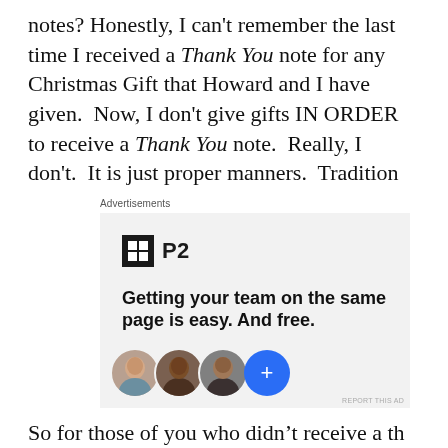notes? Honestly, I can't remember the last time I received a Thank You note for any Christmas Gift that Howard and I have given.  Now, I don't give gifts IN ORDER to receive a Thank You note.  Really, I don't.  It is just proper manners.  Tradition
[Figure (other): Advertisement for P2 product: logo with black square containing a grid icon and 'P2' text, headline 'Getting your team on the same page is easy. And free.' with three circular avatar photos and a blue plus button at the bottom.]
So for those of you who...  [continues below]